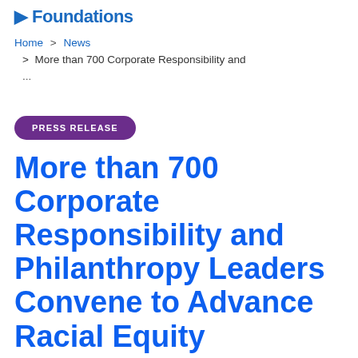Foundations
Home > News > More than 700 Corporate Responsibility and ...
PRESS RELEASE
More than 700 Corporate Responsibility and Philanthropy Leaders Convene to Advance Racial Equity